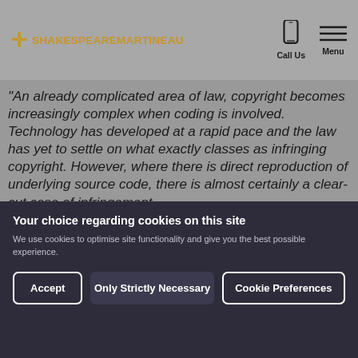Shakespeare Martineau — Call Us | Menu
“An already complicated area of law, copyright becomes increasingly complex when coding is involved. Technology has developed at a rapid pace and the law has yet to settle on what exactly classes as infringing copyright. However, where there is direct reproduction of underlying source code, there is almost certainly a clear-cut case of infringement.
“The reproduction in this case was most likely, what is known as, non-literal copying. This may involve someone taking the
Your choice regarding cookies on this site
We use cookies to optimise site functionality and give you the best possible experience.